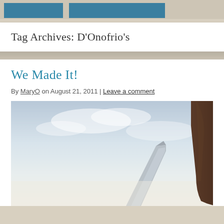[Figure (other): Top navigation bar with two teal/blue rectangular buttons partially visible at top of page]
Tag Archives: D'Onofrio's
We Made It!
By MaryO on August 21, 2011 | Leave a comment
[Figure (photo): Photograph showing an airplane wing visible through a window with sky and clouds in the background, and a person's dark hair visible on the right side of the frame]